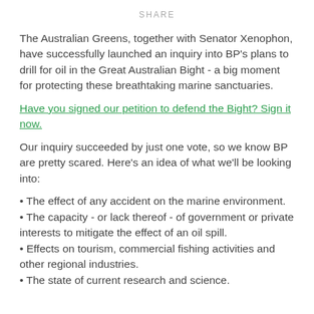SHARE
The Australian Greens, together with Senator Xenophon, have successfully launched an inquiry into BP's plans to drill for oil in the Great Australian Bight - a big moment for protecting these breathtaking marine sanctuaries.
Have you signed our petition to defend the Bight? Sign it now.
Our inquiry succeeded by just one vote, so we know BP are pretty scared. Here's an idea of what we'll be looking into:
• The effect of any accident on the marine environment.
• The capacity - or lack thereof - of government or private interests to mitigate the effect of an oil spill.
• Effects on tourism, commercial fishing activities and other regional industries.
• The state of current research and science.